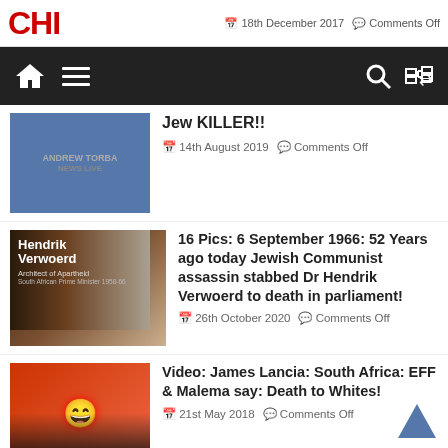18th December 2017  Comments Off
[Figure (screenshot): Dark navigation bar with home icon, hamburger menu icon on left, search and shuffle icons on right]
Jew KILLER!!
14th August 2019  Comments Off
[Figure (photo): Hendrik Verwoerd thumbnail - Architect of Apartheid, South African Prime Minister 1958-66]
16 Pics: 6 September 1966: 52 Years ago today Jewish Communist assassin stabbed Dr Hendrik Verwoerd to death in parliament!
26th October 2020  Comments Off
[Figure (photo): Person wearing red beret smiling - EFF related image]
Video: James Lancia: South Africa: EFF & Malema say: Death to Whites!
21st May 2018  Comments Off
[Figure (photo): Jewish-Promoted White Genocide thumbnail with red logo at top]
Video: Direct from Germany: Jewish HATRED & genocide of Germans & all